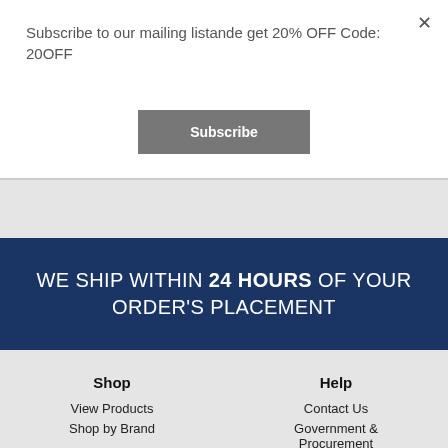Subscribe to our mailing listande get 20% OFF Code: 20OFF
×
Subscribe
WE SHIP WITHIN 24 HOURS OF YOUR ORDER'S PLACEMENT
Shop
Help
View Products
Contact Us
Shop by Brand
Government & Procurement